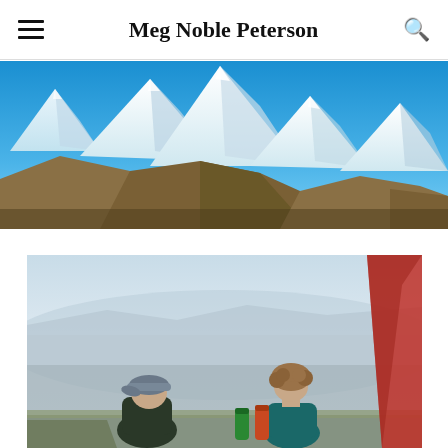Meg Noble Peterson
[Figure (photo): Panoramic view of snow-capped Himalayan mountain peaks under a clear blue sky, with brown rocky foothills in the foreground.]
[Figure (photo): Two people sitting outdoors on a high mountain viewpoint, seen from behind, looking out over a hazy valley. One person wears a blue-grey cap and dark jacket, the other has curly hair and wears a teal jacket. A green and red water bottle sit on the surface. A red structure is visible on the right edge.]